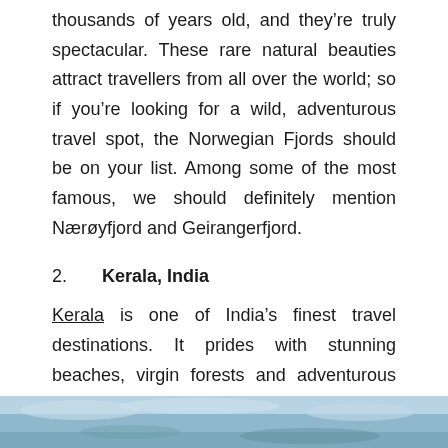thousands of years old, and they're truly spectacular. These rare natural beauties attract travellers from all over the world; so if you're looking for a wild, adventurous travel spot, the Norwegian Fjords should be on your list. Among some of the most famous, we should definitely mention Nærøyfjord and Geirangerfjord.
2.   Kerala, India
Kerala is one of India's finest travel destinations. It prides with stunning beaches, virgin forests and adventurous boat tours. If you like hiking and trekking, explore Gaths Mountains and relish in the green biodiversity; but if you'd rather sit in the sun and enjoy swimming, then you should head to the golden-sand resorts of Kovalam and Varkala.
[Figure (photo): Partial view of an image strip at the bottom of the page, showing a blue-toned scene (likely water or landscape).]